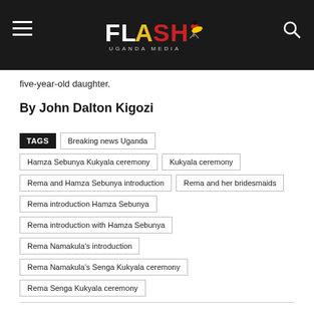Flash Uganda Media
five-year-old daughter.
By John Dalton Kigozi
TAGS  Breaking news Uganda  Hamza Sebunya Kukyala ceremony  Kukyala ceremony  Rema and Hamza Sebunya introduction  Rema and her bridesmaids  Rema introduction Hamza Sebunya  Rema introduction with Hamza Sebunya  Rema Namakula's introduction  Rema Namakula's Senga Kukyala ceremony  Rema Senga Kukyala ceremony